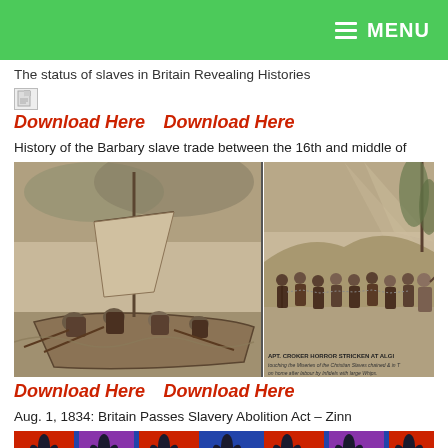MENU
The status of slaves in Britain Revealing Histories
Download Here  Download Here
History of the Barbary slave trade between the 16th and middle of
[Figure (illustration): Two historical engravings: left shows enslaved people rowing a boat; right shows a slave coffle march with caption 'CAPT. CROKER HORROR STRICKEN AT ALGIERS touching the Miseries of the Christian Slaves chained & in their home after labour by Infidels with large Whips']
Download Here  Download Here
Aug. 1, 1834: Britain Passes Slavery Abolition Act – Zinn
[Figure (illustration): Colorful decorative pattern with red and blue background and black palm-like motifs, partial image cut off at bottom of page]